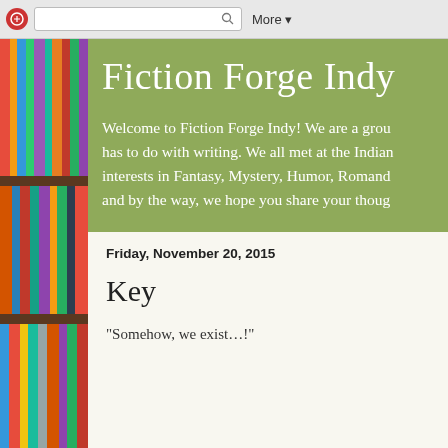[Figure (screenshot): Browser navigation bar with Blogger icon, search box with magnifying glass, and More dropdown button]
[Figure (photo): Bookshelf with colorful books arranged vertically, wooden shelves visible]
Fiction Forge Indy
Welcome to Fiction Forge Indy! We are a group of writers who love everything that has to do with writing. We all met at the Indiana Writers Center and have interests in Fantasy, Mystery, Humor, Romance, and more! Come on in and by the way, we hope you share your thoughts as you read!
Friday, November 20, 2015
Key
“Somehow, we exist…!”